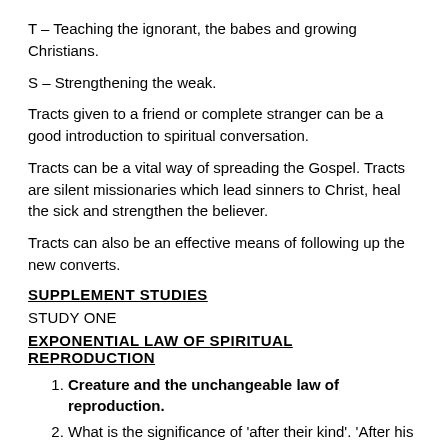T – Teaching the ignorant, the babes and growing Christians.
S – Strengthening the weak.
Tracts given to a friend or complete stranger can be a good introduction to spiritual conversation.
Tracts can be a vital way of spreading the Gospel. Tracts are silent missionaries which lead sinners to Christ, heal the sick and strengthen the believer.
Tracts can also be an effective means of following up the new converts.
SUPPLEMENT STUDIES
STUDY ONE
EXPONENTIAL LAW OF SPIRITUAL REPRODUCTION
Creature and the unchangeable law of reproduction.
What is the significance of 'after their kind'. 'After his